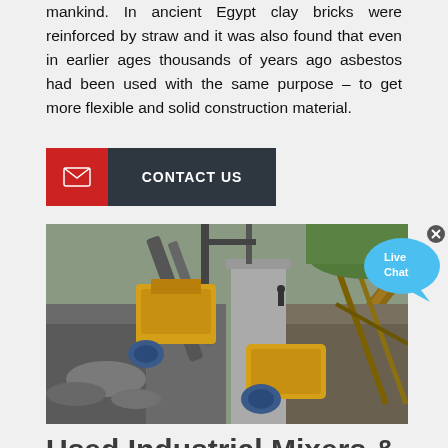mankind. In ancient Egypt clay bricks were reinforced by straw and it was also found that even in earlier ages thousands of years ago asbestos had been used with the same purpose – to get more flexible and solid construction material.
[Figure (other): Contact Us button with red icon section and dark grey text section]
[Figure (photo): Outdoor quarry or mining site with yellow heavy machinery, concrete structures, conveyor belts, and rocky terrain]
[Figure (other): Live Chat bubble widget in blue]
Used Industrial Mixers & Blenders | Federal